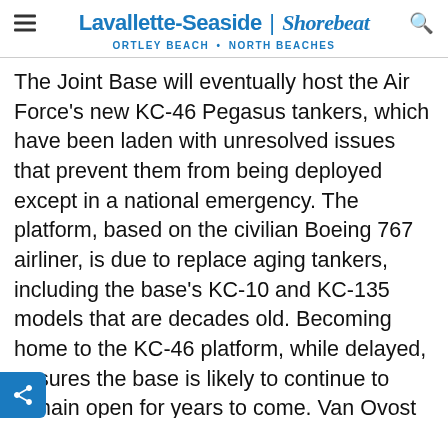Lavallette-Seaside | Shorebeat — ORTLEY BEACH • NORTH BEACHES
The Joint Base will eventually host the Air Force's new KC-46 Pegasus tankers, which have been laden with unresolved issues that prevent them from being deployed except in a national emergency. The platform, based on the civilian Boeing 767 airliner, is due to replace aging tankers, including the base's KC-10 and KC-135 models that are decades old. Becoming home to the KC-46 platform, while delayed, ensures the base is likely to continue to remain open for years to come. Van Ovost recently met directly with Boeing executives two weeks ago to discuss the ongoing issues, most notably fuel leaks and foreign objects being found inside newly-delivered aircraft hulls. The KC-46 will form the backbone of America's air-to-air refueling mission in